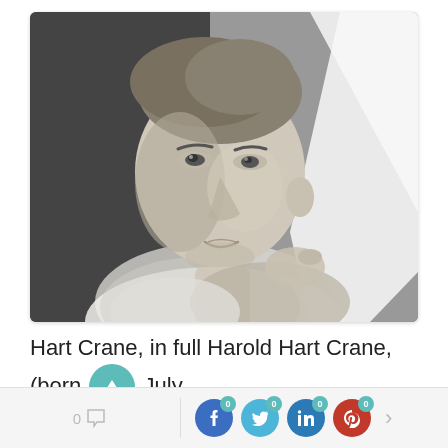[Figure (photo): Black and white photograph of Hart Crane, a young man in a white shirt, looking thoughtfully to the side, with a white abstract shape behind him.]
Hart Crane, in full Harold Hart Crane, (born July 21, 1899, Garrettsville, Ohio, U.S.—died April 27,
0 [comment icon] | [Facebook 0] [Twitter 0] [LinkedIn 0] [Pinterest 0] >